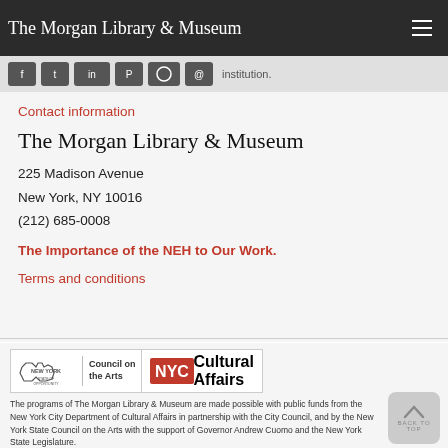The Morgan Library & Museum
[Figure (screenshot): Social media icons strip showing Facebook, Twitter, Instagram, Pinterest, YouTube, email icons and the word 'institution.']
Contact information
The Morgan Library & Museum
225 Madison Avenue
New York, NY 10016
(212) 685-0008
The Importance of the NEH to Our Work.
Terms and conditions
[Figure (logo): New York State Council on the Arts logo alongside NYC Cultural Affairs logo]
The programs of The Morgan Library & Museum are made possible with public funds from the New York City Department of Cultural Affairs in partnership with the City Council, and by the New York State Council on the Arts with the support of Governor Andrew Cuomo and the New York State Legislature.